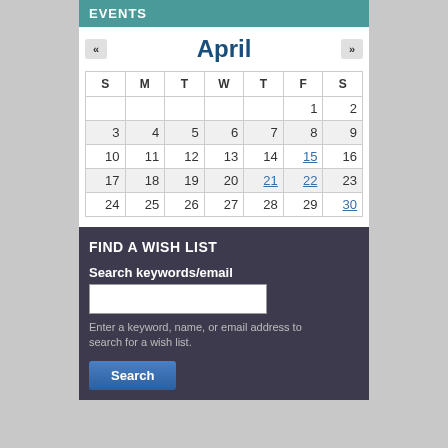EVENTS
| S | M | T | W | T | F | S |
| --- | --- | --- | --- | --- | --- | --- |
|  |  |  |  |  | 1 | 2 |
| 3 | 4 | 5 | 6 | 7 | 8 | 9 |
| 10 | 11 | 12 | 13 | 14 | 15 | 16 |
| 17 | 18 | 19 | 20 | 21 | 22 | 23 |
| 24 | 25 | 26 | 27 | 28 | 29 | 30 |
FIND A WISH LIST
Search keywords/email
Enter a keyword, name, or email address to search for a wish list.